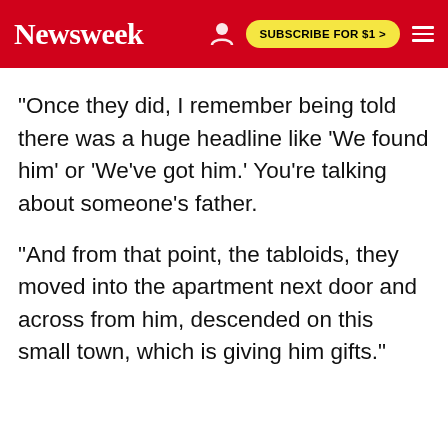Newsweek | SUBSCRIBE FOR $1 >
"Once they did, I remember being told there was a huge headline like 'We found him' or 'We've got him.' You're talking about someone's father.
"And from that point, the tabloids, they moved into the apartment next door and across from him, descended on this small town, which is giving him gifts."